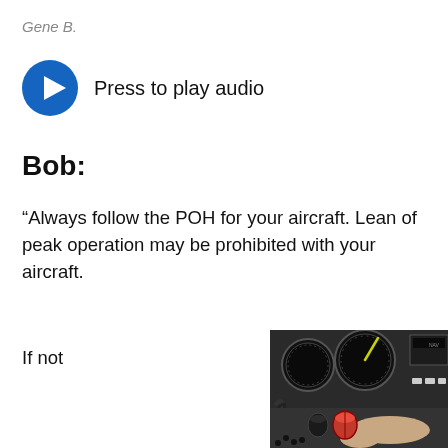Gene B.
[Figure (other): Blue circular play button icon for audio playback]
Press to play audio
Bob:
“Always follow the POH for your aircraft. Lean of peak operation may be prohibited with your aircraft.
If not
[Figure (photo): Close-up photo of an aircraft cockpit panel showing gauges and a hand adjusting a red mixture knob]